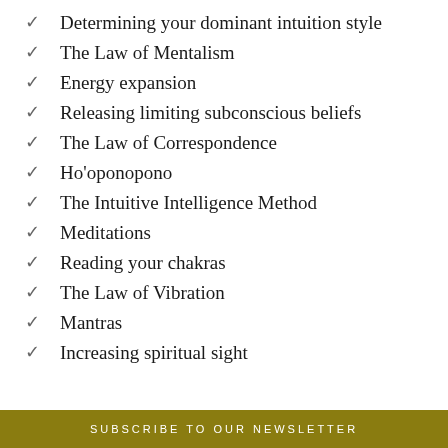Determining your dominant intuition style
The Law of Mentalism
Energy expansion
Releasing limiting subconscious beliefs
The Law of Correspondence
Ho'oponopono
The Intuitive Intelligence Method
Meditations
Reading your chakras
The Law of Vibration
Mantras
Increasing spiritual sight
SUBSCRIBE TO OUR NEWSLETTER